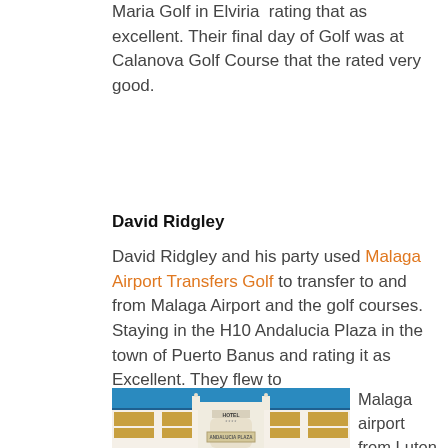Maria Golf in Elviria  rating that as excellent. Their final day of Golf was at Calanova Golf Course that the rated very good.
David Ridgley
David Ridgley and his party used Malaga Airport Transfers Golf to transfer to and from Malaga Airport and the golf courses. Staying in the H10 Andalucia Plaza in the town of Puerto Banus and rating it as Excellent. They flew to Malaga airport from Luton with Easyjet staying for 5 nights
[Figure (photo): Photo of Hotel Andalucia Plaza exterior at night, white ornate building with blue sky]